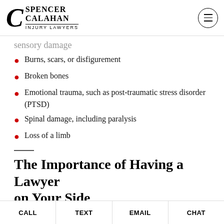Spencer Calahan Injury Lawyers
Burns, scars, or disfigurement
Broken bones
Emotional trauma, such as post-traumatic stress disorder (PTSD)
Spinal damage, including paralysis
Loss of a limb
The Importance of Having a Lawyer on Your Side
Most people assume that, when the time comes to actually file an
CALL | TEXT | EMAIL | CHAT